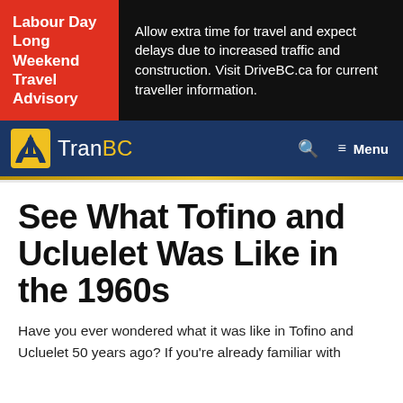Labour Day Long Weekend Travel Advisory — Allow extra time for travel and expect delays due to increased traffic and construction. Visit DriveBC.ca for current traveller information.
[Figure (logo): TranBC website navigation bar with yellow/black highway shield logo and 'TranBC' text, search icon, and hamburger menu]
See What Tofino and Ucluelet Was Like in the 1960s
Have you ever wondered what it was like in Tofino and Ucluelet 50 years ago? If you're already familiar with